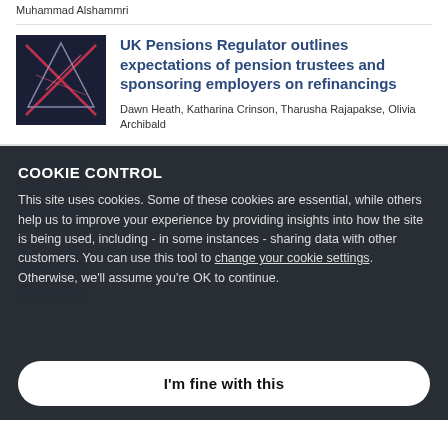Muhammad Alshammri
[Figure (illustration): Dark navy thumbnail with X cross pattern in pink/red lines]
UK Pensions Regulator outlines expectations of pension trustees and sponsoring employers on refinancings
Dawn Heath, Katharina Crinson, Tharusha Rajapakse, Olivia Archibald
COOKIE CONTROL
This site uses cookies. Some of these cookies are essential, while others help us to improve your experience by providing insights into how the site is being used, including - in some instances - sharing data with other customers. You can use this tool to change your cookie settings. Otherwise, we'll assume you're OK to continue.
I'm fine with this
Call for evidence issued in Dame...
Decarbonising existing assets how to...
Alexa Millett, Amani Khalifa, Jos Gilbert, Vanessa Medina
More details